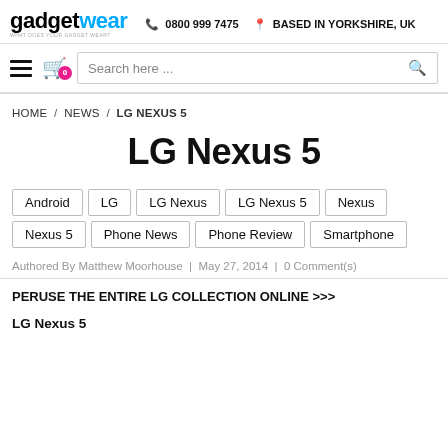gadgetwear · 0800 999 7475 · BASED IN YORKSHIRE, UK
[Figure (screenshot): Navigation bar with hamburger menu, shopping bag icon with badge 0, and search box]
HOME / NEWS / LG NEXUS 5
LG Nexus 5
Android
LG
LG Nexus
LG Nexus 5
Nexus
Nexus 5
Phone News
Phone Review
Smartphone
Authored By Matthew Moorhouse | May 27, 2014 | 0 Comment(s)
PERUSE THE ENTIRE LG COLLECTION ONLINE >>>
LG Nexus 5